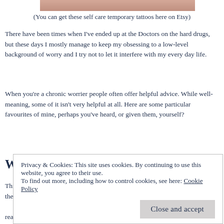[Figure (photo): Partial image of a person's arm/hand with self care temporary tattoos, cropped at top of page]
(You can get these self care temporary tattoos here on Etsy)
There have been times when I've ended up at the Doctors on the hard drugs, but these days I mostly manage to keep my obsessing to a low-level background of worry and I try not to let it interfere with my every day life.
When you're a chronic worrier people often offer helpful advice. While well-meaning, some of it isn't very helpful at all. Here are some particular favourites of mine, perhaps you've heard, or given them, yourself?
Will it matter in 10 years time?
This is a particular hated piece of advice that I read for Chronic Worriers all the time. Now not only do I have to worry about
really a consolation. And what if it was a nuclear holocaust type
Privacy & Cookies: This site uses cookies. By continuing to use this website, you agree to their use.
To find out more, including how to control cookies, see here: Cookie Policy
Close and accept